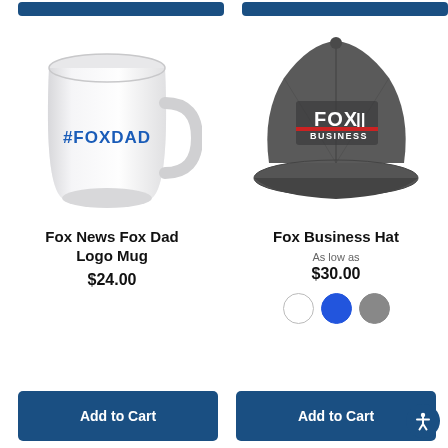[Figure (screenshot): Top partial add-to-cart buttons cropped at top of page]
[Figure (photo): White ceramic mug with #FOXDAD printed in blue text on the side]
Fox News Fox Dad Logo Mug
$24.00
[Figure (photo): Dark gray Fox Business baseball cap with Fox Business logo embroidered on front]
Fox Business Hat
As low as
$30.00
[Figure (other): Three color swatches: white, blue, gray]
Add to Cart
Add to Cart